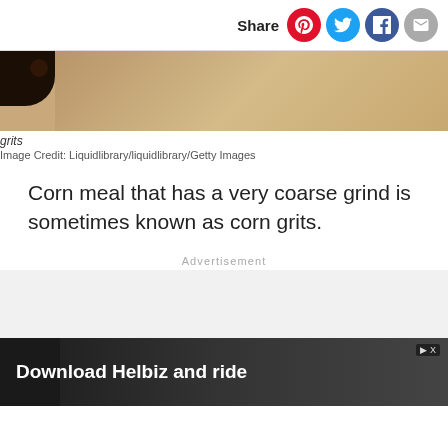Share
[Figure (photo): Close-up photo of grits or corn meal on a textured surface, partially visible at top of page]
grits
Image Credit: Liquidlibrary/liquidlibrary/Getty Images
Corn meal that has a very coarse grind is sometimes known as corn grits.
Advertisement
[Figure (photo): Advertisement banner: Download Helbiz and ride, showing a scooter handlebar]